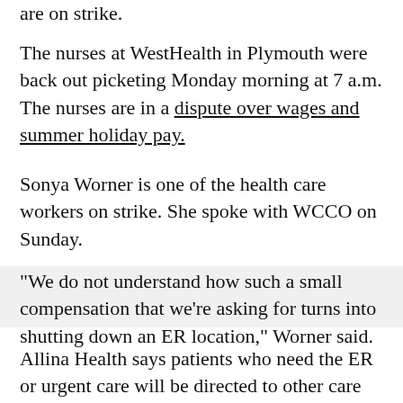are on strike.
The nurses at WestHealth in Plymouth were back out picketing Monday morning at 7 a.m. The nurses are in a dispute over wages and summer holiday pay.
Sonya Worner is one of the health care workers on strike. She spoke with WCCO on Sunday.
"We do not understand how such a small compensation that we're asking for turns into shutting down an ER location," Worner said.
Allina Health says patients who need the ER or urgent care will be directed to other care sites, and the rest of WestHealth's services are open